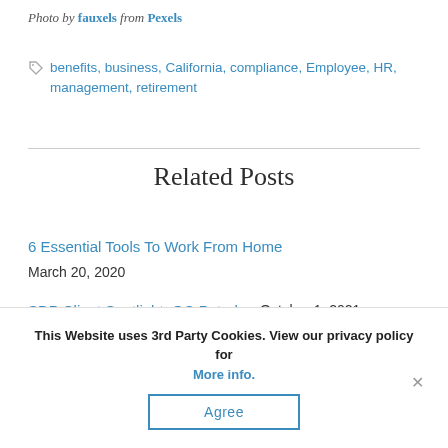Photo by fauxels from Pexels
benefits, business, California, compliance, Employee, HR, management, retirement
Related Posts
6 Essential Tools To Work From Home
March 20, 2020
SDP Client Spotlight: OC Patrol
October 1, 2021
This Website uses 3rd Party Cookies. View our privacy policy for More info.